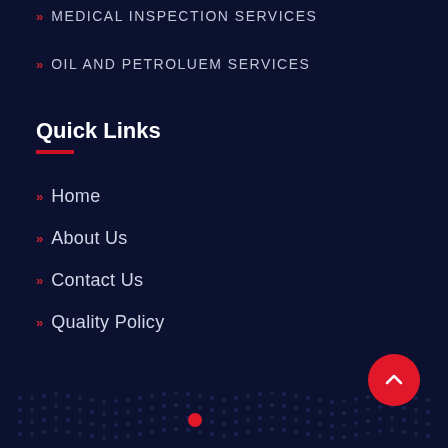» MEDICAL INSPECTION SERVICES
» OIL AND PETROLUEM SERVICES
Quick Links
» Home
» About Us
» Contact Us
» Quality Policy
Our Branches
[Figure (map): World map with dotted pattern and a red location dot marker, partial view at bottom of page]